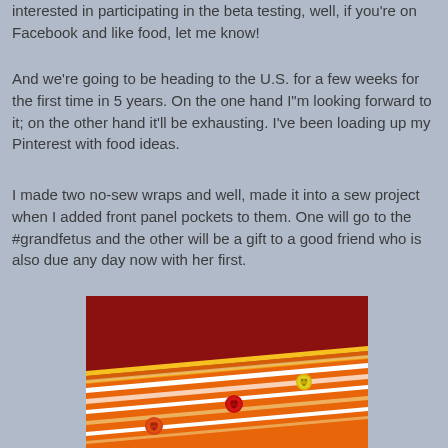interested in participating in the beta testing, well, if you're on Facebook and like food, let me know!
And we're going to be heading to the U.S. for a few weeks for the first time in 5 years. On the one hand I"m looking forward to it; on the other hand it'll be exhausting. I've been loading up my Pinterest with food ideas.
I made two no-sew wraps and well, made it into a sew project when I added front panel pockets to them. One will go to the #grandfetus and the other will be a gift to a good friend who is also due any day now with her first.
[Figure (photo): A close-up photo of an orange and yellow striped fabric wrap with colorful button decorations (red, orange, and yellow/green buttons), against a dark red background.]